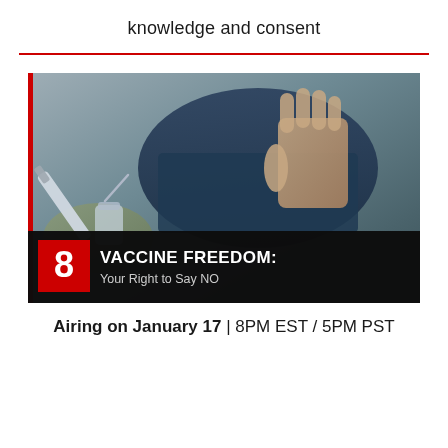knowledge and consent
[Figure (photo): A person holding up their hand in a 'stop' gesture refusing a syringe/vaccine being offered. Overlay text at the bottom reads '8 VACCINE FREEDOM: Your Right to Say NO' with a red number box on the left.]
Airing on January 17 | 8PM EST / 5PM PST